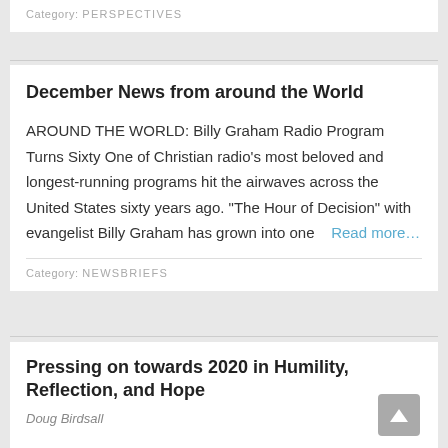Category: PERSPECTIVES
December News from around the World
AROUND THE WORLD: Billy Graham Radio Program Turns Sixty One of Christian radio’s most beloved and longest-running programs hit the airwaves across the United States sixty years ago. “The Hour of Decision” with evangelist Billy Graham has grown into one
Read more…
Category: NEWSBRIEFS
Pressing on towards 2020 in Humility, Reflection, and Hope
Doug Birdsall